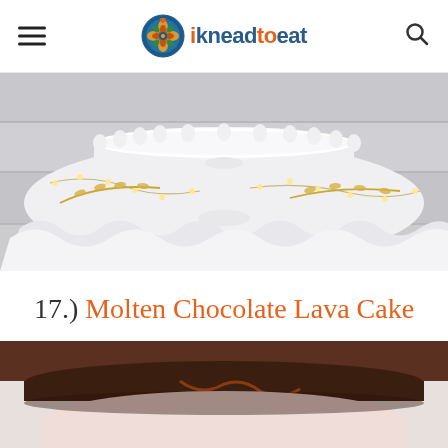ikneadtoeat
[Figure (photo): A white cake stand or serving dish with white ruffled fabric/cloth and string fairy lights on a white wooden surface, photographed from above/side angle.]
17.) Molten Chocolate Lava Cake
[Figure (photo): A molten chocolate lava cake, partially visible at the bottom of the page, showing dark chocolate and a pink/cream colored background.]